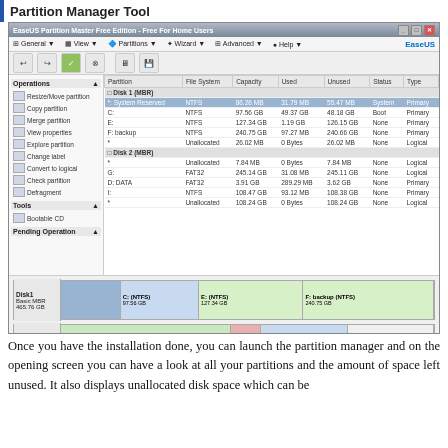Partition Manager Tool
[Figure (screenshot): EaseUS Partition Master Free Edition screenshot showing partition manager with two disks (Disk 1 MBR and Disk 2 MBR), their partitions including NTFS and FAT32 file systems, capacities, used/unused space, status and type columns. Disk visualization at the bottom shows partition layout graphically.]
Once you have the installation done, you can launch the partition manager and on the opening screen you can have a look at all your partitions and the amount of space left unused. It also displays unallocated disk space which can be